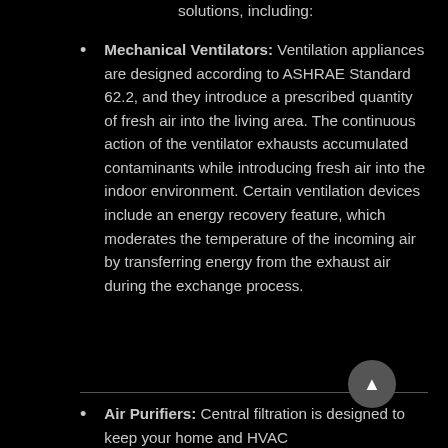solutions, including:
Mechanical Ventilators: Ventilation appliances are designed according to ASHRAE Standard 62.2, and they introduce a prescribed quantity of fresh air into the living area. The continuous action of the ventilator exhausts accumulated contaminants while introducing fresh air into the indoor environment. Certain ventilation devices include an energy recovery feature, which moderates the temperature of the incoming air by transferring energy from the exhaust air during the exchange process.
Air Purifiers: Central filtration is designed to keep your home and HVAC